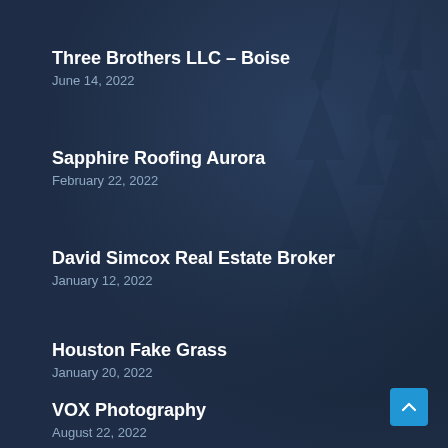Three Brothers LLC – Boise
June 14, 2022
Sapphire Roofing Aurora
February 22, 2022
David Simcox Real Estate Broker
January 12, 2022
Houston Fake Grass
January 20, 2022
VOX Photography
August 22, 2022